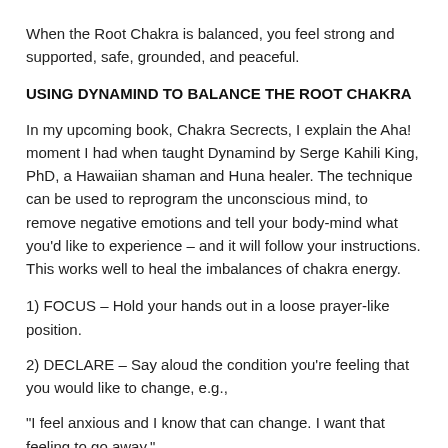When the Root Chakra is balanced, you feel strong and supported, safe, grounded, and peaceful.
USING DYNAMIND TO BALANCE THE ROOT CHAKRA
In my upcoming book, Chakra Secrects, I explain the Aha! moment I had when taught Dynamind by Serge Kahili King, PhD, a Hawaiian shaman and Huna healer. The technique can be used to reprogram the unconscious mind, to remove negative emotions and tell your body-mind what you'd like to experience – and it will follow your instructions. This works well to heal the imbalances of chakra energy.
1) FOCUS – Hold your hands out in a loose prayer-like position.
2) DECLARE – Say aloud the condition you're feeling that you would like to change, e.g.,
"I feel anxious and I know that can change. I want that feeling to go away."